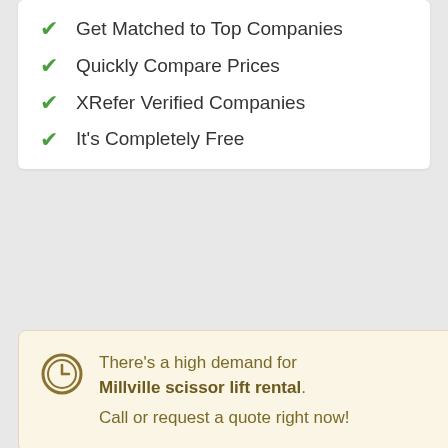Get Matched to Top Companies
Quickly Compare Prices
XRefer Verified Companies
It's Completely Free
There's a high demand for Millville scissor lift rental. Call or request a quote right now!
Trico Lift
Serving: Estell Manor, Monroeville, Monroe Township, Sicklerville, Pitman, Stone Harbor and throughout